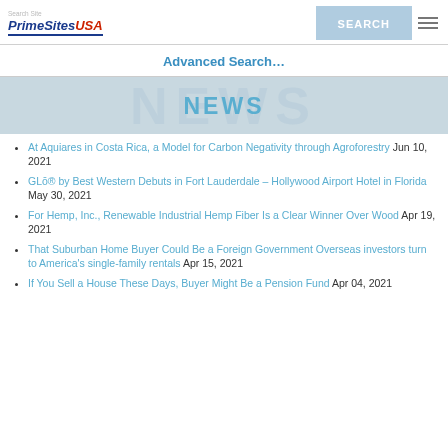PrimeSitesUSA — Search Site
Advanced Search…
NEWS
At Aquiares in Costa Rica, a Model for Carbon Negativity through Agroforestry Jun 10, 2021
GLō® by Best Western Debuts in Fort Lauderdale – Hollywood Airport Hotel in Florida May 30, 2021
For Hemp, Inc., Renewable Industrial Hemp Fiber Is a Clear Winner Over Wood Apr 19, 2021
That Suburban Home Buyer Could Be a Foreign Government Overseas investors turn to America's single-family rentals Apr 15, 2021
If You Sell a House These Days, Buyer Might Be a Pension Fund Apr 04, 2021